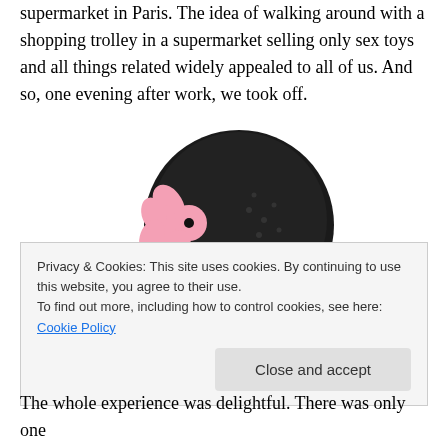supermarket in Paris. The idea of walking around with a shopping trolley in a supermarket selling only sex toys and all things related widely appealed to all of us. And so, one evening after work, we took off.
[Figure (photo): A black vibrator/sex toy device with pink flower-shaped silicone attachment, photographed against a white background. A watermark reading 'Lovehoney' or similar is visible.]
Privacy & Cookies: This site uses cookies. By continuing to use this website, you agree to their use.
To find out more, including how to control cookies, see here: Cookie Policy
The whole experience was delightful. There was only one